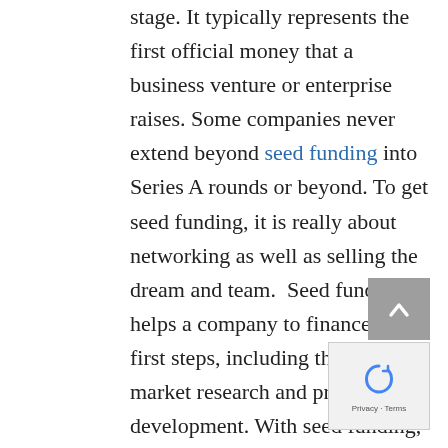stage. It typically represents the first official money that a business venture or enterprise raises. Some companies never extend beyond seed funding into Series A rounds or beyond. To get seed funding, it is really about networking as well as selling the dream and team.  Seed funding helps a company to finance its first steps, including things like market research and product development. With seed funding, a company has assistance in determining what its final products will be and who its target demographic is. Seed funding is used to enable the founding team to complete these tasks. There are many potential investors in a seed funding...